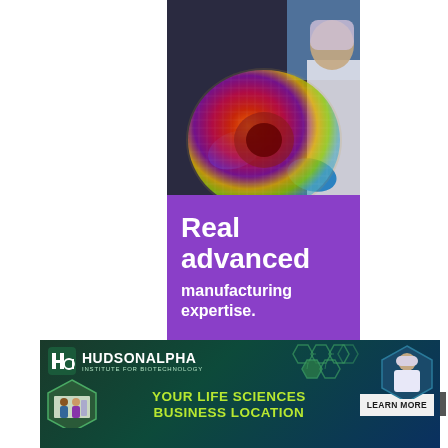[Figure (photo): Scientist in cleanroom suit and blue gloves holding a large colorful semiconductor wafer with iridescent rainbow pattern, against dark background with screens.]
Real advanced manufacturing expertise.
[Figure (infographic): HudsonAlpha Institute for Biotechnology banner ad with dark teal/navy gradient background. Features logo, green hexagonal molecule network decoration, hexagonal photo of lab scene, yellow-green text reading 'YOUR LIFE SCIENCES BUSINESS LOCATION', and a white 'LEARN MORE' button. Also shows scientist photo in hexagon on right side.]